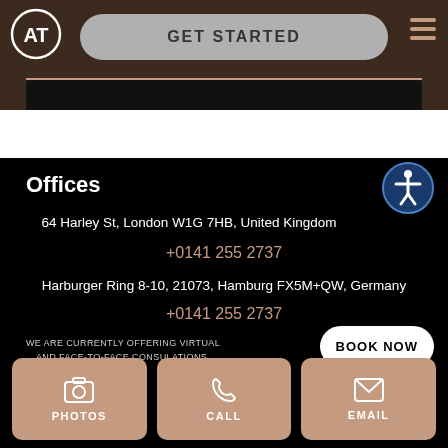[Figure (logo): AT logo in white circle on dark brown background with GET STARTED button and hamburger menu]
Offices
64 Harley St, London W1G 7HB, United Kingdom
+0141 255 2737
Harburger Ring 8-10, 21073, Hamburg FX5M+QW, Germany
+0141 255 2737
WE ARE CURRENTLY OFFERING VIRTUAL AND FACE-TO-FACE CONSULATIONS.
BOOK NOW
PHOTOS
CALL
EMAIL